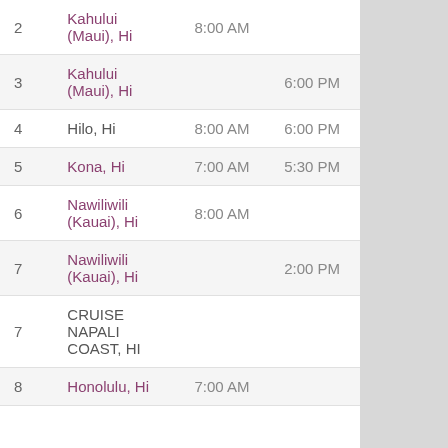| Day | Port | Arrive | Depart |
| --- | --- | --- | --- |
| 2 | Kahului (Maui), Hi | 8:00 AM |  |
| 3 | Kahului (Maui), Hi |  | 6:00 PM |
| 4 | Hilo, Hi | 8:00 AM | 6:00 PM |
| 5 | Kona, Hi | 7:00 AM | 5:30 PM |
| 6 | Nawiliwili (Kauai), Hi | 8:00 AM |  |
| 7 | Nawiliwili (Kauai), Hi |  | 2:00 PM |
| 7 | CRUISE NAPALI COAST, HI |  |  |
| 8 | Honolulu, Hi | 7:00 AM |  |